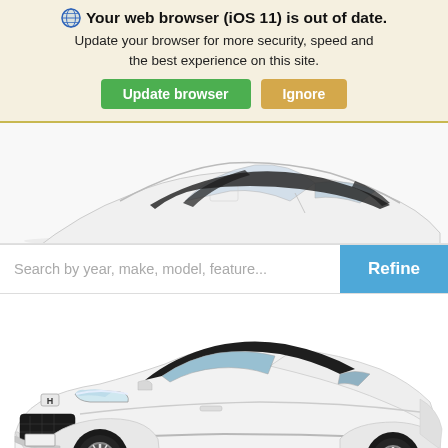Your web browser (iOS 11) is out of date. Update your browser for more security, speed and the best experience on this site.
[Figure (screenshot): Browser update notification banner with globe icon, bold title 'Your web browser (iOS 11) is out of date.', subtitle text, green 'Update browser' button and tan 'Ignore' button]
[Figure (photo): Partial top view of a white Honda sedan (Accord) against white background, showing roof and upper body]
Search by year, make, model, feature...
Refine
[Figure (photo): White Honda Accord sedan shown in three-quarter front view against white background, showing full front and side profile with black alloy wheels]